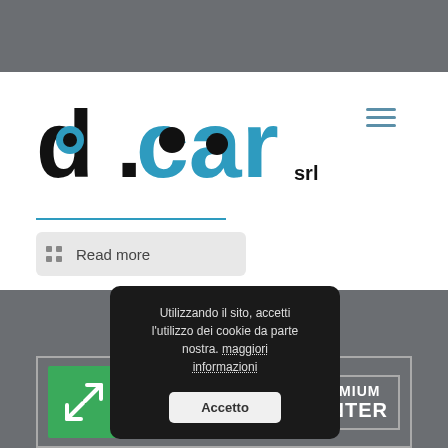[Figure (logo): d.car srl logo with black and blue lettering, and hamburger menu icon]
[Figure (other): Blue horizontal divider line]
Read more
© 2022 D.CAR srl. Tutti i diritti sono riservati.
[Figure (logo): Arval Premium Center partner banner with green Arval logo]
Utilizzando il sito, accetti l'utilizzo dei cookie da parte nostra. maggiori informazioni
Accetto